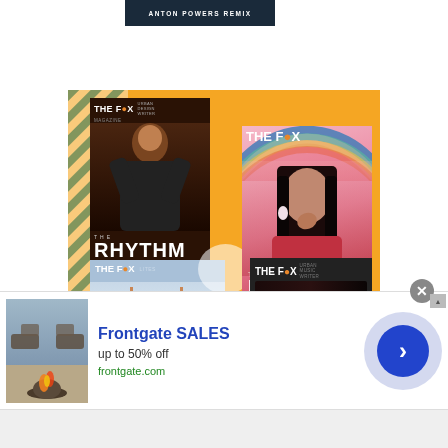[Figure (screenshot): Partial top element showing dark banner with text ANTON POWERS REMIX on white background]
[Figure (illustration): The Fox Magazine promotional collage showing four magazine covers: The Rhythm Issue (male artist), The Designer Issue (female model in red), a landscape/lites cover, and a fourth Fox cover. Yellow/orange background with teal diagonal stripe decoration.]
[Figure (infographic): Advertisement banner for Frontgate SALES showing outdoor patio furniture with fire pit image, text Frontgate SALES up to 50% off, frontgate.com, close button X, and blue circular arrow button]